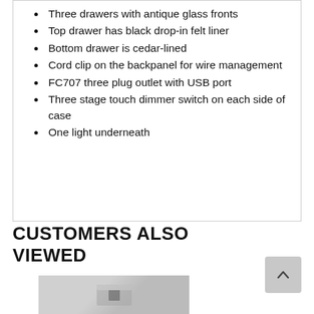Three drawers with antique glass fronts
Top drawer has black drop-in felt liner
Bottom drawer is cedar-lined
Cord clip on the backpanel for wire management
FC707 three plug outlet with USB port
Three stage touch dimmer switch on each side of case
One light underneath
CUSTOMERS ALSO VIEWED
[Figure (photo): Product thumbnail image showing a bedroom furniture item in black and white]